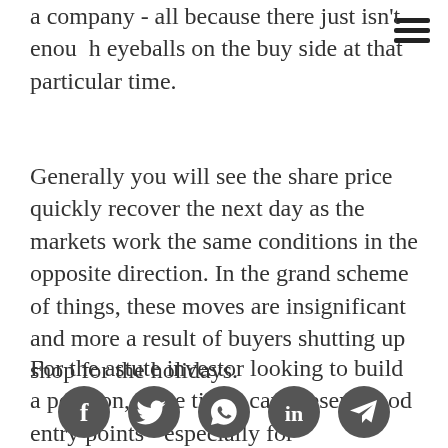a company - all because there just isn't enough eyeballs on the buy side at that particular time.
Generally you will see the share price quickly recover the next day as the markets work the same conditions in the opposite direction. In the grand scheme of things, these moves are insignificant and more a result of buyers shutting up shop for the holidays.
For the astute investor looking to build a position, these times can present good entry points - especially for undervalued stocks suddenly made cheaper due to a sell down on
[Figure (infographic): Social media share icons: Facebook, Twitter, WhatsApp, LinkedIn, Telegram — dark grey circular buttons at bottom of page]